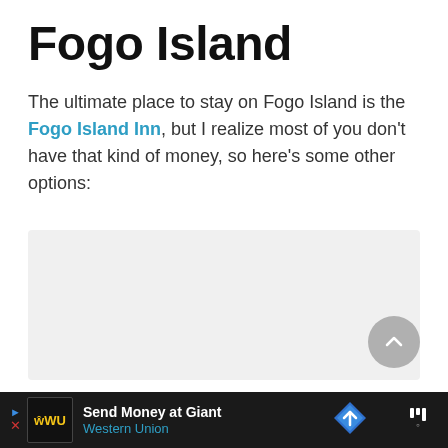Fogo Island
The ultimate place to stay on Fogo Island is the Fogo Island Inn, but I realize most of you don't have that kind of money, so here's some other options:
[Figure (other): Gray placeholder box representing embedded content/widget]
Send Money at Giant Western Union [advertisement bar]